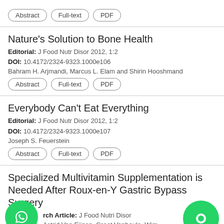Abstract | Full-text | PDF
Nature's Solution to Bone Health
Editorial: J Food Nutr Disor 2012, 1:2
DOI: 10.4172/2324-9323.1000e106
Bahram H. Arjmandi, Marcus L. Elam and Shirin Hooshmand
Abstract | Full-text | PDF
Everybody Can't Eat Everything
Editorial: J Food Nutr Disor 2012, 1:2
DOI: 10.4172/2324-9323.1000e107
Joseph S. Feuerstein
Abstract | Full-text | PDF
Specialized Multivitamin Supplementation is Needed After Roux-en-Y Gastric Bypass Surgery
Research Article: J Food Nutri Disor
Astrid Van Eijgen, Greet Vanheule, Wim Bouckaert, Lies Decoutere, Mieke Van Den Driessche